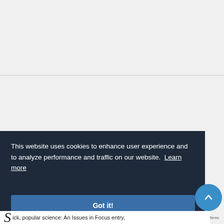[Figure (photo): Partial book cover image shown at the top, reddish-brown tones, cropped at bottom]
+ BOOKSHELF
This website uses cookies to enhance user experience and to analyze performance and traffic on our website. Learn more
Got it!
tick, popular science: An Issues in Focus entry,